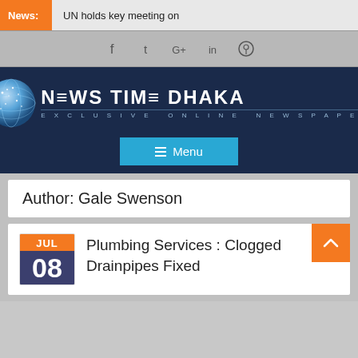News: UN holds key meeting on
[Figure (screenshot): Social media icons bar: Facebook, Twitter, Google+, LinkedIn, Pinterest]
[Figure (logo): News Time Dhaka logo - globe icon with text NEWS TIME DHAKA and tagline EXCLUSIVE ONLINE NEWSPAPER on dark navy background]
≡ Menu
Author: Gale Swenson
Plumbing Services : Clogged Drainpipes Fixed
JUL 08